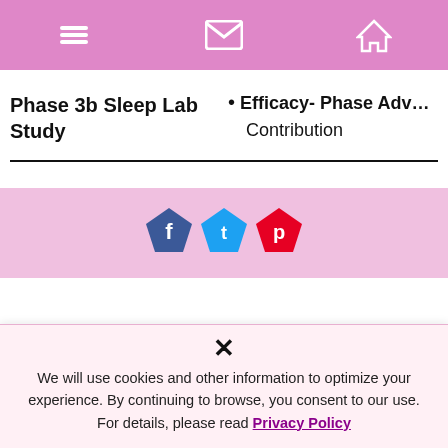Navigation bar with menu, mail, and home icons
Phase 3b Sleep Lab Study
Efficacy- Phase Adv… Contribution
[Figure (other): Social share icons: Facebook (blue pentagon), Twitter (light blue pentagon), Pinterest (red pentagon)]
× We will use cookies and other information to optimize your experience. By continuing to browse, you consent to our use. For details, please read Privacy Policy